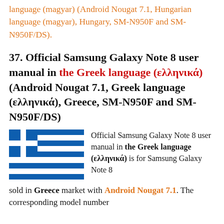language (magyar) (Android Nougat 7.1, Hungarian language (magyar), Hungary, SM-N950F and SM-N950F/DS).
37. Official Samsung Galaxy Note 8 user manual in the Greek language (ελληνικά) (Android Nougat 7.1, Greek language (ελληνικά), Greece, SM-N950F and SM-N950F/DS)
[Figure (illustration): Greek national flag: blue and white horizontal stripes with blue canton containing white cross in the upper hoist corner]
Official Samsung Galaxy Note 8 user manual in the Greek language (ελληνικά) is for Samsung Galaxy Note 8 sold in Greece market with Android Nougat 7.1. The corresponding model number